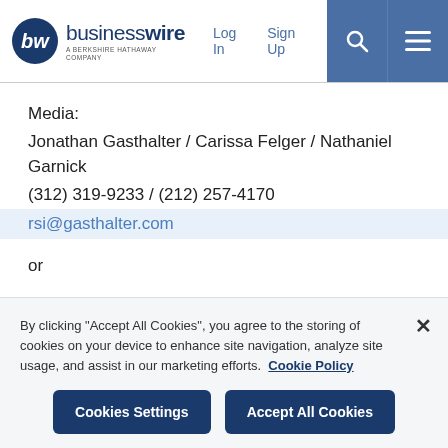businesswire — A BERKSHIRE HATHAWAY COMPANY | Log In | Sign Up
Media:
Jonathan Gasthalter / Carissa Felger / Nathaniel Garnick
(312) 319-9233 / (212) 257-4170
rsi@gasthalter.com
or
Lisa Johnson
(609) 788-8548
lisa@lisajohnsoncommunications.com
By clicking "Accept All Cookies", you agree to the storing of cookies on your device to enhance site navigation, analyze site usage, and assist in our marketing efforts. Cookie Policy